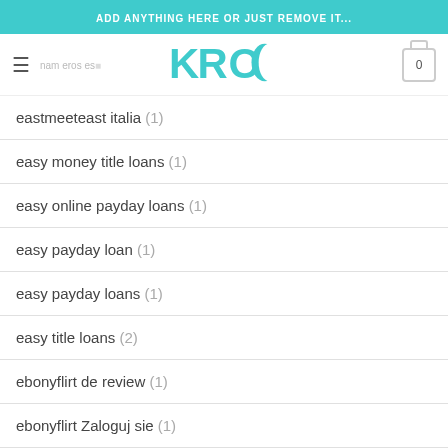ADD ANYTHING HERE OR JUST REMOVE IT...
[Figure (logo): KROQ logo in teal color with hamburger menu and cart icon]
eastmeeteast italia (1)
easy money title loans (1)
easy online payday loans (1)
easy payday loan (1)
easy payday loans (1)
easy title loans (2)
ebonyflirt de review (1)
ebonyflirt Zaloguj sie (1)
echat gratuit (1)